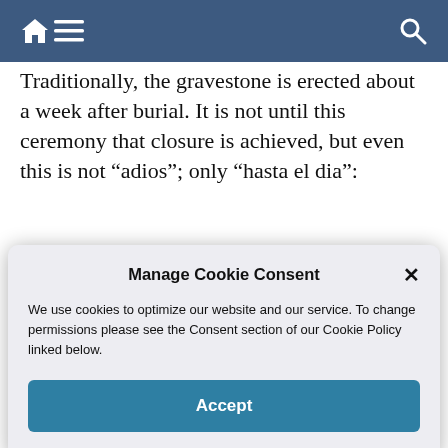[Navigation bar with home, menu, and search icons]
Traditionally, the gravestone is erected about a week after burial. It is not until this ceremony that closure is achieved, but even this is not “adios”; only “hasta el dia”:
[Figure (screenshot): Manage Cookie Consent modal dialog with Accept button and close (x) button. Text reads: We use cookies to optimize our website and our service. To change permissions please see the Consent section of our Cookie Policy linked below.]
craftworks. Flowers in various shades of orange, from red to yellow, flood into the local markets along with the seasonal harvest of pumpkins and squash. Bakeries cut back on their usual fare to produce “pan de yema”, a mildly sweetened egg bread. Candle makers and